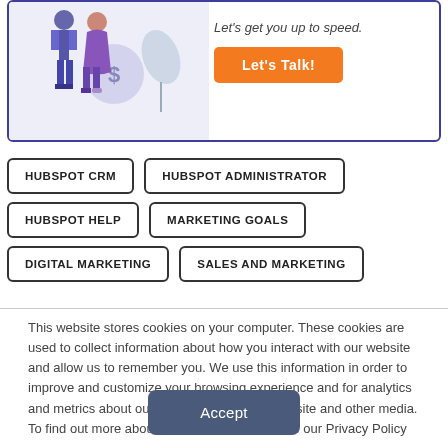[Figure (illustration): Banner with two illustrated figures and dollar/leaf icons on the left, tagline 'Let's get you up to speed.' and orange 'Let's Talk!' button on the right, inside a blue-bordered box.]
HUBSPOT CRM
HUBSPOT ADMINISTRATOR
HUBSPOT HELP
MARKETING GOALS
DIGITAL MARKETING
SALES AND MARKETING
This website stores cookies on your computer. These cookies are used to collect information about how you interact with our website and allow us to remember you. We use this information in order to improve and customize your browsing experience and for analytics and metrics about our visitors both on this website and other media. To find out more about the cookies we use, see our Privacy Policy